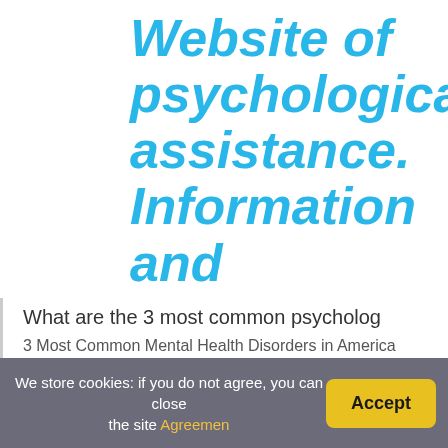Website of psychological assistance. Information and consultations
What are the 3 most common psycholog
3 Most Common Mental Health Disorders in America
We store cookies: if you do not agree, you can close the site Agreement